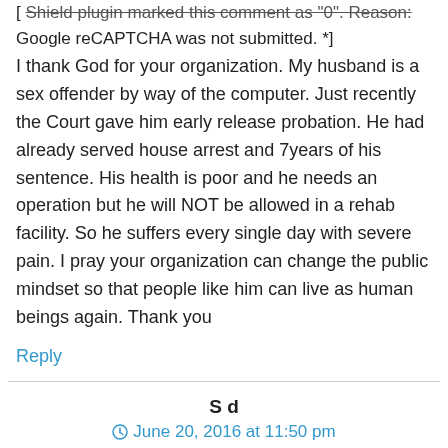[ Shield plugin marked this comment as "0". Reason: Google reCAPTCHA was not submitted. *]
I thank God for your organization. My husband is a sex offender by way of the computer. Just recently the Court gave him early release probation. He had already served house arrest and 7years of his sentence. His health is poor and he needs an operation but he will NOT be allowed in a rehab facility. So he suffers every single day with severe pain. I pray your organization can change the public mindset so that people like him can live as human beings again. Thank you
Reply
S d
June 20, 2016 at 11:50 pm
I'm a registered sex offender in hillsborough county. My charge was for being 21 with a 16 year old girlfriend. I severed 4 yrs and 6 more between house arrest and